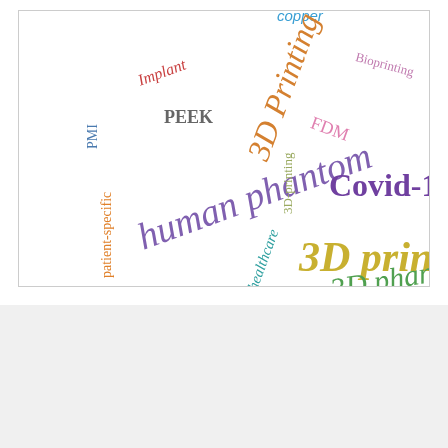[Figure (other): Word cloud containing 3D printing and medical imaging related keywords such as '3D printing', '3D Printing', '3D phantom', 'human phantom', 'Covid-19', 'PEEK', 'PMI', 'Implant', 'FDM', 'Bioprinting', 'copper', '3D-printing', 'healthcare', 'patient-specific', '3d printing', 'cost saving' in various colors, sizes, and rotation angles.]
© Infinite Science Publishing 2022  Imprint  Privacy Policy